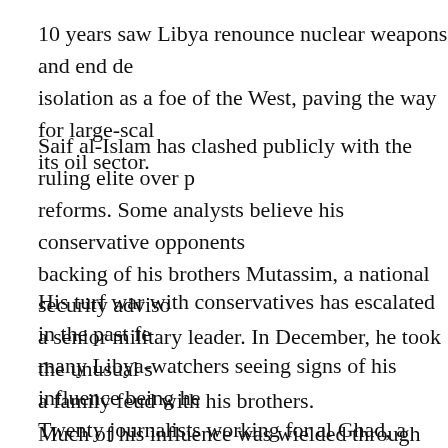10 years saw Libya renounce nuclear weapons and end de isolation as a foe of the West, paving the way for large-scal its oil sector.
Saif al-Islam has clashed publicly with the ruling elite over p reforms. Some analysts believe his conservative opponents backing of his brothers Mutassim, a national security adviso a senior military leader. In December, he took the unusual s a family feud with his brothers.
His turf war with conservatives has escalated in the past fe many Libya-watchers seeing signs of his influence being he Twenty journalists working for al Ghad, a media group whic linked to him, were briefly arrested. The head of the group s and its flagship newspaper stopped printing.
Much of his influence was wielded through his position as t